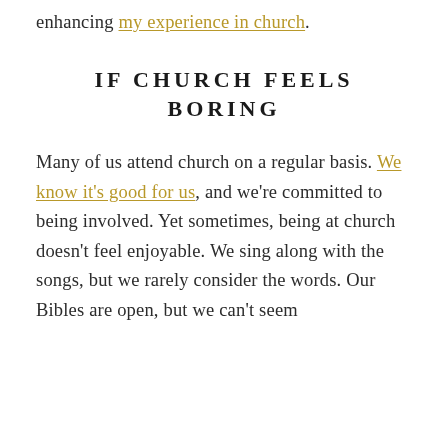enhancing my experience in church.
IF CHURCH FEELS BORING
Many of us attend church on a regular basis. We know it's good for us, and we're committed to being involved. Yet sometimes, being at church doesn't feel enjoyable. We sing along with the songs, but we rarely consider the words. Our Bibles are open, but we can't seem